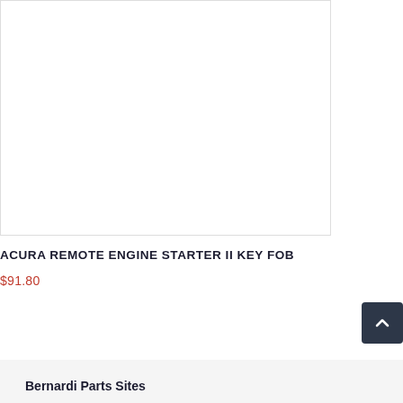[Figure (photo): Product image box for Acura Remote Engine Starter II Key Fob, white background with border]
ACURA REMOTE ENGINE STARTER II KEY FOB
$91.80
Bernardi Parts Sites